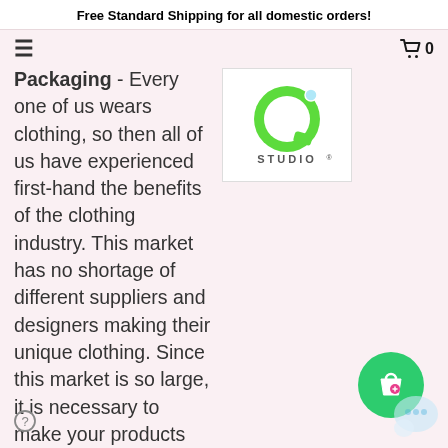Free Standard Shipping for all domestic orders!
Packaging - Every one of us wears clothing, so then all of us have experienced first-hand the benefits of the clothing industry. This market has no shortage of different suppliers and designers making their unique clothing. Since this market is so large, it is necessary to make your products stand
[Figure (logo): Q Studio logo — green letter Q with small circle/bubble detail, 'STUDIO' text below with registered trademark symbol, on white background]